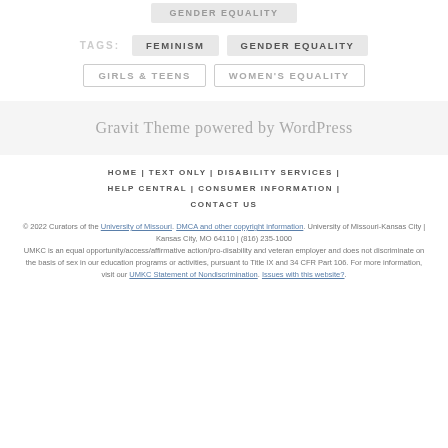GENDER EQUALITY
TAGS: FEMINISM GENDER EQUALITY
GIRLS & TEENS
WOMEN'S EQUALITY
Gravit Theme powered by WordPress
HOME | TEXT ONLY | DISABILITY SERVICES | HELP CENTRAL | CONSUMER INFORMATION | CONTACT US
© 2022 Curators of the University of Missouri. DMCA and other copyright information. University of Missouri-Kansas City | Kansas City, MO 64110 | (816) 235-1000 UMKC is an equal opportunity/access/affirmative action/pro-disability and veteran employer and does not discriminate on the basis of sex in our education programs or activities, pursuant to Title IX and 34 CFR Part 106. For more information, visit our UMKC Statement of Nondiscrimination. Issues with this website?.